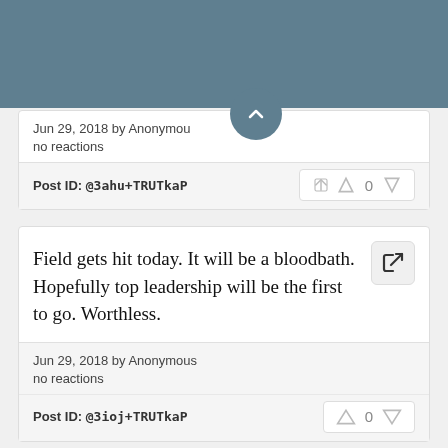[Figure (screenshot): Teal/slate colored top banner area]
Jun 29, 2018 by Anonymous
no reactions
Post ID: @3ahu+TRUTkaP
Field gets hit today. It will be a bloodbath. Hopefully top leadership will be the first to go. Worthless.
Jun 29, 2018 by Anonymous
no reactions
Post ID: @3ioj+TRUTkaP